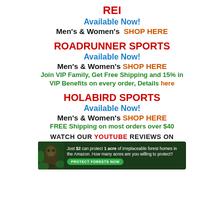REI
Available Now!
Men's & Women's  SHOP HERE
ROADRUNNER SPORTS
Available Now!
Men's & Women's  SHOP HERE
Join VIP Family, Get Free Shipping and 15% in VIP Benefits on every order, Details here
HOLABIRD SPORTS
Available Now!
Men's & Women's  SHOP HERE
FREE Shipping on most orders over $40
WATCH OUR YOUTUBE REVIEWS ON
[Figure (infographic): Advertisement banner: dark green background with an orangutan image on the left. Text reads: Just $2 can protect 1 acre of irreplaceable forest homes in the Amazon. How many acres are you willing to protect? With a green 'PROTECT FORESTS NOW' button.]